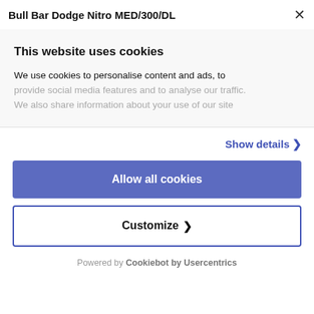Bull Bar Dodge Nitro MED/300/DL
This website uses cookies
We use cookies to personalise content and ads, to provide social media features and to analyse our traffic. We also share information about your use of our site
Show details >
Allow all cookies
Customize >
Powered by Cookiebot by Usercentrics